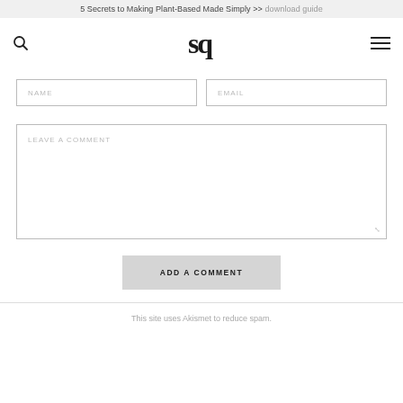5 Secrets to Making Plant-Based Made Simply >> download guide
sq
NAME
EMAIL
LEAVE A COMMENT
ADD A COMMENT
This site uses Akismet to reduce spam.